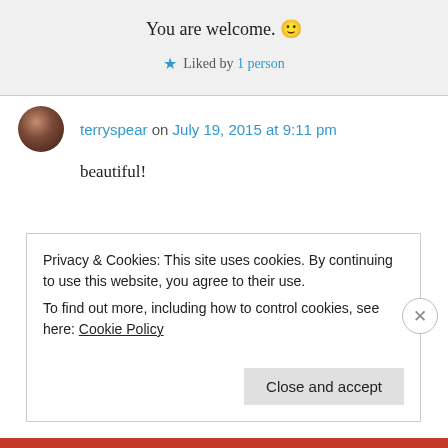You are welcome. 🙂
★ Liked by 1 person
terryspear on July 19, 2015 at 9:11 pm
beautiful!
Privacy & Cookies: This site uses cookies. By continuing to use this website, you agree to their use.
To find out more, including how to control cookies, see here: Cookie Policy
Close and accept